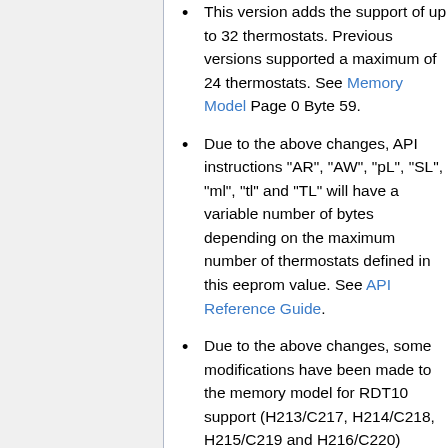This version adds the support of up to 32 thermostats. Previous versions supported a maximum of 24 thermostats. See Memory Model Page 0 Byte 59.
Due to the above changes, API instructions "AR", "AW", "pL", "SL", "ml", "tl" and "TL" will have a variable number of bytes depending on the maximum number of thermostats defined in this eeprom value. See API Reference Guide.
Due to the above changes, some modifications have been made to the memory model for RDT10 support (H213/C217, H214/C218, H215/C219 and H216/C220)
This version supports the CLI instruction "discover can control" which allows, after adding DALI